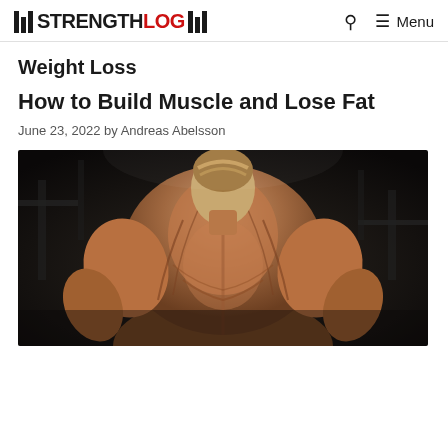STRENGTHLOG — Menu
Weight Loss
How to Build Muscle and Lose Fat
June 23, 2022 by Andreas Abelsson
[Figure (photo): Muscular man seen from behind in a gym, showing a highly defined back, dark moody background with gym equipment]